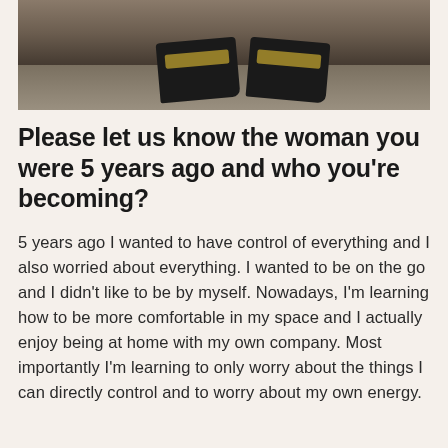[Figure (photo): Top portion of a photo showing black Nike sneakers on a rocky/gravelly ground surface]
Please let us know the woman you were 5 years ago and who you’re becoming?
5 years ago I wanted to have control of everything and I also worried about everything. I wanted to be on the go and I didn’t like to be by myself. Nowadays, I’m learning how to be more comfortable in my space and I actually enjoy being at home with my own company. Most importantly I’m learning to only worry about the things I can directly control and to worry about my own energy.